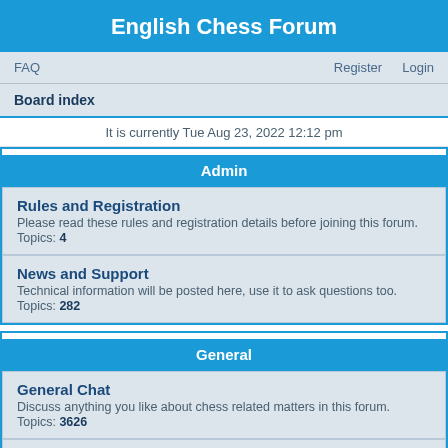English Chess Forum
FAQ   Register   Login
Board index
It is currently Tue Aug 23, 2022 12:12 pm
Admin
Rules and Registration
Please read these rules and registration details before joining this forum.
Topics: 4
News and Support
Technical information will be posted here, use it to ask questions too.
Topics: 282
General
General Chat
Discuss anything you like about chess related matters in this forum.
Topics: 3626
ECF Matters
Debate directly related to English Chess Federation matters.
Topics: 930
International News
The very latest International round up of English news.
Topics: ...